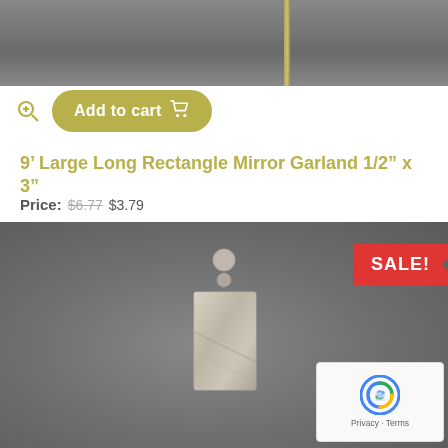[Figure (photo): Top portion of a product photo showing a gray background with a thin gold/yellow stick or rod visible at top center]
[Figure (other): Add to cart button with shopping cart icon, olive/gold color, rounded rectangle shape, with zoom icon to the left]
9' Large Long Rectangle Mirror Garland 1/2" x 3"
Price: $6.77 $3.79
[Figure (photo): Product photo of a rectangle mirror garland piece on gray background, with a SALE! ribbon in red at top right corner. The mirror piece is rectangular with a silver ball connector at top.]
[Figure (other): reCAPTCHA widget showing Google reCAPTCHA logo with Privacy and Terms links]